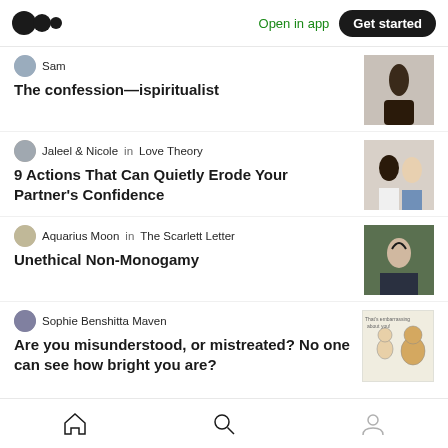Open in app | Get started
Sam
The confession—ispiritualist
Jaleel & Nicole in Love Theory
9 Actions That Can Quietly Erode Your Partner's Confidence
Aquarius Moon in The Scarlett Letter
Unethical Non-Monogamy
Sophie Benshitta Maven
Are you misunderstood, or mistreated? No one can see how bright you are?
Home | Search | Profile